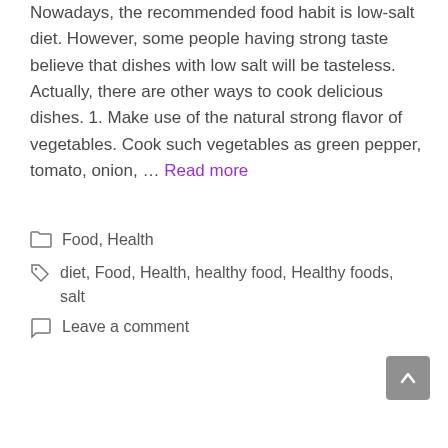Nowadays, the recommended food habit is low-salt diet. However, some people having strong taste believe that dishes with low salt will be tasteless. Actually, there are other ways to cook delicious dishes. 1. Make use of the natural strong flavor of vegetables. Cook such vegetables as green pepper, tomato, onion, … Read more
Food, Health
diet, Food, Health, healthy food, Healthy foods, salt
Leave a comment